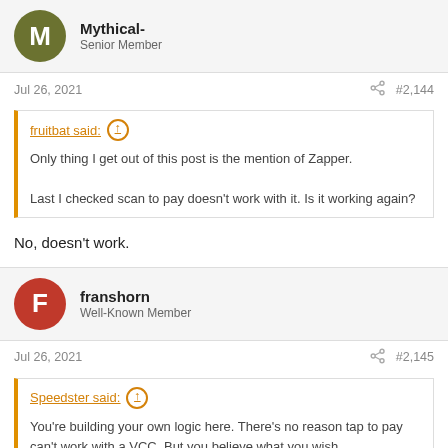Mythical-
Senior Member
Jul 26, 2021	#2,144
fruitbat said:
Only thing I get out of this post is the mention of Zapper.

Last I checked scan to pay doesn't work with it. Is it working again?
No, doesn't work.
franshorn
Well-Known Member
Jul 26, 2021	#2,145
Speedster said:
You're building your own logic here. There's no reason tap to pay can't work with a VCC. But you believe what you wish